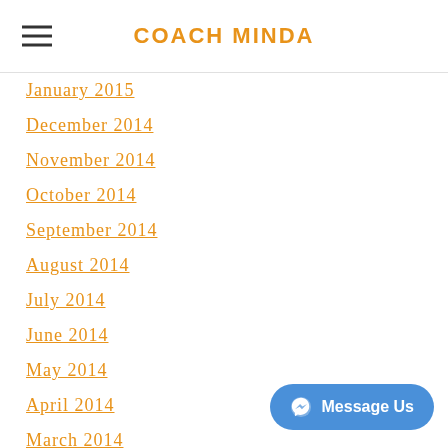COACH MINDA
January 2015
December 2014
November 2014
October 2014
September 2014
August 2014
July 2014
June 2014
May 2014
April 2014
March 2014
February 2014
January 2014
December 2013
November 2013